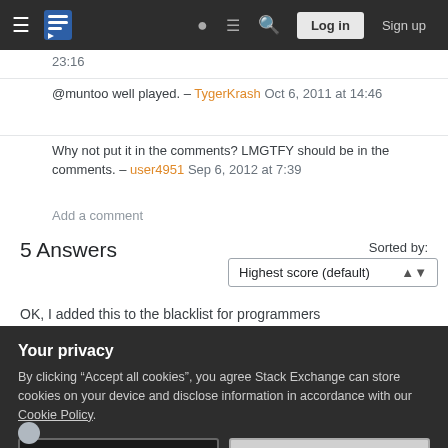Stack Exchange navigation bar with Log in and Sign up buttons
23:16
@muntoo well played. – TygerKrash Oct 6, 2011 at 14:46
Why not put it in the comments? LMGTFY should be in the comments. – user4951 Sep 6, 2012 at 7:39
Add a comment
5 Answers
Sorted by: Highest score (default)
OK, I added this to the blacklist for programmers
Your privacy
By clicking "Accept all cookies", you agree Stack Exchange can store cookies on your device and disclose information in accordance with our Cookie Policy.
Accept all cookies
Customize settings